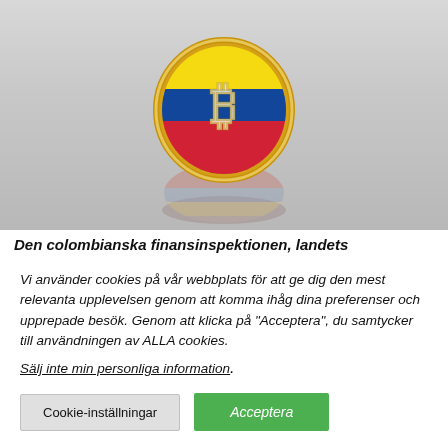[Figure (photo): A Bitcoin coin with the Colombian flag colors (yellow, blue, red) displayed on it, standing upright on a reflective gray surface with its reflection visible below.]
Den colombianska finansinspektionen, landets
Vi använder cookies på vår webbplats för att ge dig den mest relevanta upplevelsen genom att komma ihåg dina preferenser och upprepade besök. Genom att klicka på "Acceptera", du samtycker till användningen av ALLA cookies.
Sälj inte min personliga information.
Cookie-inställningar   Acceptera